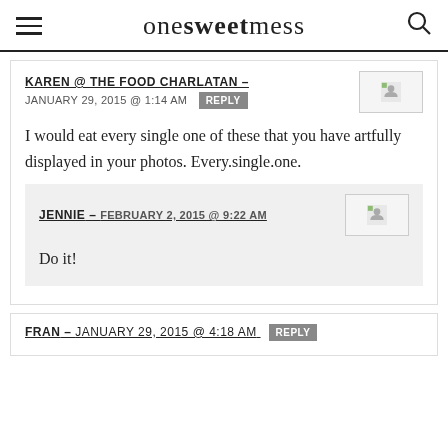one sweet mess
KAREN @ THE FOOD CHARLATAN – JANUARY 29, 2015 @ 1:14 AM REPLY
I would eat every single one of these that you have artfully displayed in your photos. Every.single.one.
JENNIE – FEBRUARY 2, 2015 @ 9:22 AM
Do it!
FRAN – JANUARY 29, 2015 @ 4:18 AM REPLY